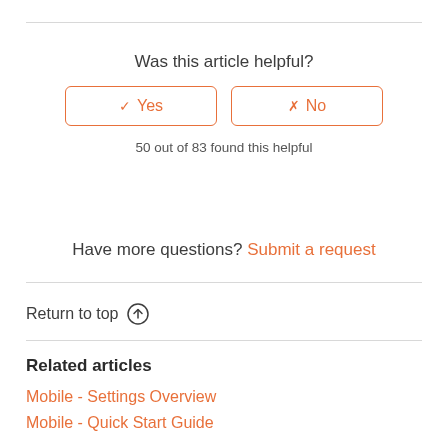Was this article helpful?
✓ Yes | ✗ No
50 out of 83 found this helpful
Have more questions? Submit a request
Return to top ↑
Related articles
Mobile - Settings Overview
Mobile - Quick Start Guide